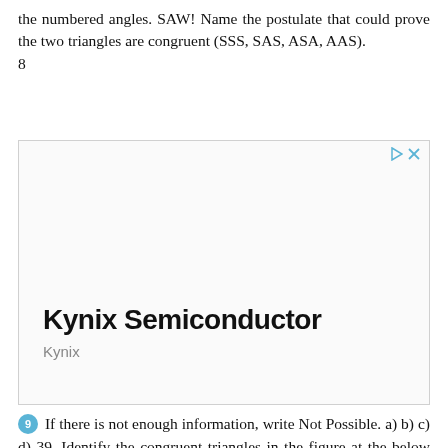the numbered angles. SAW! Name the postulate that could prove the two triangles are congruent (SSS, SAS, ASA, AAS). 8
[Figure (other): Advertisement box for Kynix Semiconductor with play and close icons in top right corner, bold title 'Kynix Semiconductor' and subtitle 'Kynix' at bottom left.]
9 If there is not enough information, write Not Possible. a) b) c) d) 39. Identify the congruent triangles in the figure at the below right. Be sure to name the corresponding vertices in the correct order! ABC For Questions 40-42, write a two column proof. 40. Given: W is the midpoint of